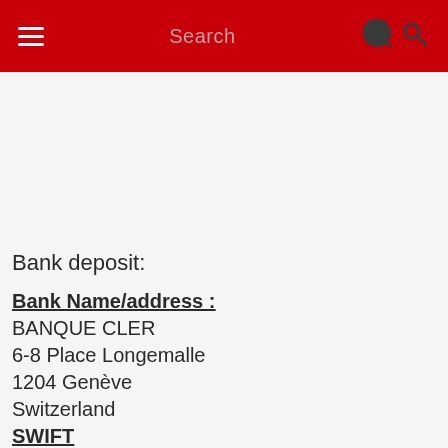Search
Bank deposit:
Bank Name/address :
BANQUE CLER
6-8 Place Longemalle
1204 Genève
Switzerland
SWIFT
BCLRCHBB
Bank Account name :